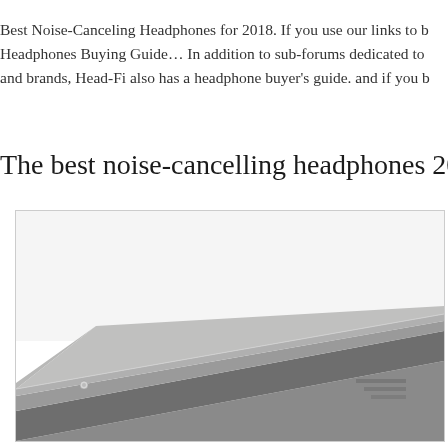Best Noise-Canceling Headphones for 2018. If you use our links to b... Headphones Buying Guide… In addition to sub-forums dedicated to... and brands, Head-Fi also has a headphone buyer's guide. and if you b...
The best noise-cancelling headphones 2018 T...
[Figure (photo): A close-up photo of a dark/grey headphone or audio device box/case, showing a corner with a small screw or button visible and a logo or text partially visible on the right side.]